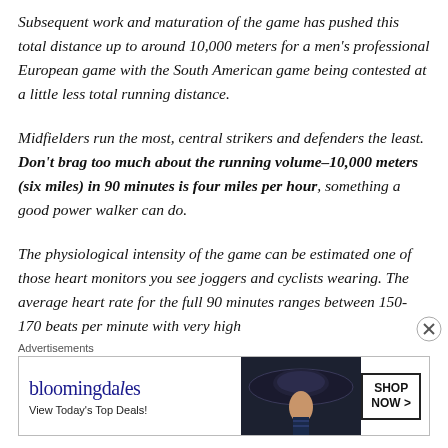Subsequent work and maturation of the game has pushed this total distance up to around 10,000 meters for a men's professional European game with the South American game being contested at a little less total running distance.
Midfielders run the most, central strikers and defenders the least. Don't brag too much about the running volume–10,000 meters (six miles) in 90 minutes is four miles per hour, something a good power walker can do.
The physiological intensity of the game can be estimated one of those heart monitors you see joggers and cyclists wearing. The average heart rate for the full 90 minutes ranges between 150-170 beats per minute with very high
Advertisements
[Figure (other): Bloomingdale's advertisement banner showing logo, 'View Today's Top Deals!' text, a woman wearing a large hat, and a 'SHOP NOW >' button]